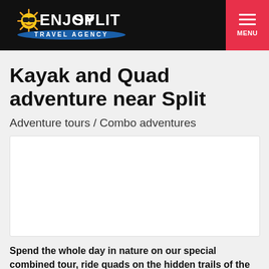Enjoy Split Travel Agency
Kayak and Quad adventure near Split
Adventure tours / Combo adventures
[Figure (photo): Photo placeholder for Kayak and Quad adventure near Split tour]
Spend the whole day in nature on our special combined tour, ride quads on the hidden trails of the